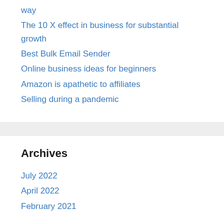way
The 10 X effect in business for substantial growth
Best Bulk Email Sender
Online business ideas for beginners
Amazon is apathetic to affiliates
Selling during a pandemic
Archives
July 2022
April 2022
February 2021